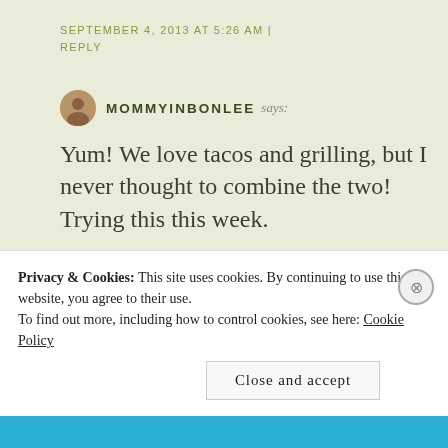SEPTEMBER 4, 2013 AT 5:26 AM | REPLY
MOMMYINBONLEE says:
Yum! We love tacos and grilling, but I never thought to combine the two! Trying this this week.
★ Like
Privacy & Cookies: This site uses cookies. By continuing to use this website, you agree to their use.
To find out more, including how to control cookies, see here: Cookie Policy
Close and accept